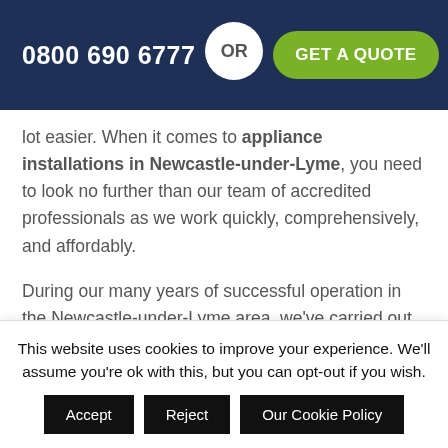0800 690 6777  OR  GET A QUOTE
lot easier. When it comes to appliance installations in Newcastle-under-Lyme, you need to look no further than our team of accredited professionals as we work quickly, comprehensively, and affordably.
During our many years of successful operation in the Newcastle-under-Lyme area, we've carried out countless successful appliance installations, so we'll
This website uses cookies to improve your experience. We'll assume you're ok with this, but you can opt-out if you wish.
Accept
Reject
Our Cookie Policy